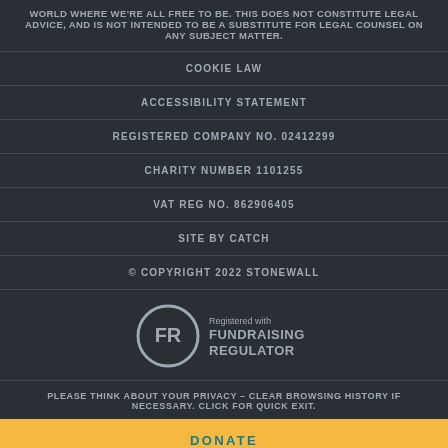WORLD WHERE WE'RE ALL FREE TO BE. THIS DOES NOT CONSTITUTE LEGAL ADVICE, AND IS NOT INTENDED TO BE A SUBSTITUTE FOR LEGAL COUNSEL ON ANY SUBJECT MATTER.
COOKIE LAW
ACCESSIBILITY STATEMENT
REGISTERED COMPANY NO. 02412299
CHARITY NUMBER 1101255
VAT REG NO. 862906405
SITE BY CATCH
© COPYRIGHT 2022 STONEWALL
[Figure (logo): Registered with Fundraising Regulator logo — FR in a circle with text 'Registered with FUNDRAISING REGULATOR']
PLEASE THINK ABOUT YOUR PRIVACY – CLEAR BROWSING HISTORY IF NECESSARY. CLICK FOR QUICK EXIT.
DONATE